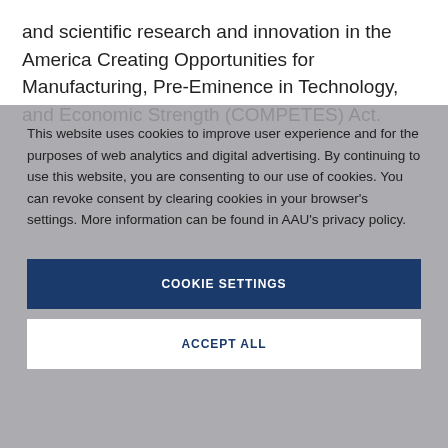and scientific research and innovation in the America Creating Opportunities for Manufacturing, Pre-Eminence in Technology, and Economic Strength (COMPETES) Act.
This website uses cookies to improve user experience and for the purposes of web analytics and digital advertising. By continuing to use this website, you are consenting to our use of cookies. You can revoke consent by clearing cookies in your browser's settings. More information can be found in AAU's privacy policy.
COOKIE SETTINGS
ACCEPT ALL